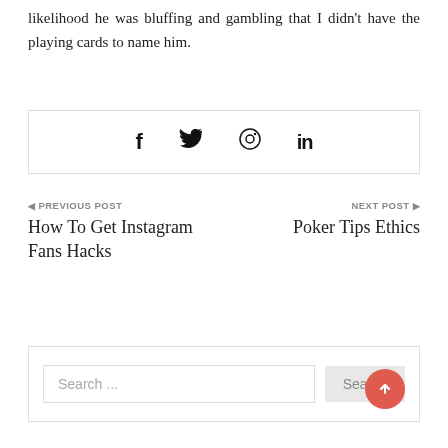likelihood he was bluffing and gambling that I didn't have the playing cards to name him.
[Figure (other): Social share icons: Facebook (f), Twitter (bird), Pinterest (P), LinkedIn (in)]
◀ PREVIOUS POST
How To Get Instagram Fans Hacks
NEXT POST ▶
Poker Tips Ethics
[Figure (other): Search bar with input field showing 'Search ...' placeholder and a 'Search' button, with a red scroll-to-top button overlay]